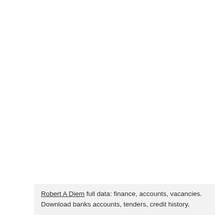Robert A Diem full data: finance, accounts, vacancies. Download banks accounts, tenders, credit history,